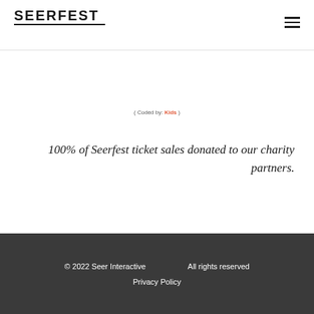SEERFEST
( Coded by: Kids )
100% of Seerfest ticket sales donated to our charity partners.
© 2022 Seer Interactive   All rights reserved   Privacy Policy